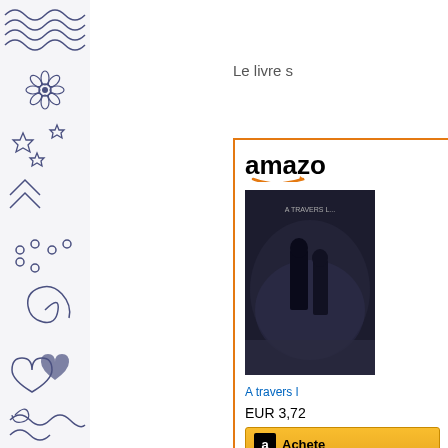[Figure (illustration): Left decorative strip with hand-drawn doodles: wavy lines, stars, flowers, hearts, swirls, dots on white background in dark blue ink]
Le livre s
[Figure (screenshot): Amazon product widget with orange border showing book cover for 'A travers l...' priced at EUR 3,72 with an Achete button]
A travers l
EUR 3,72
Achete
Sources :
Frédéric R
Aucun c